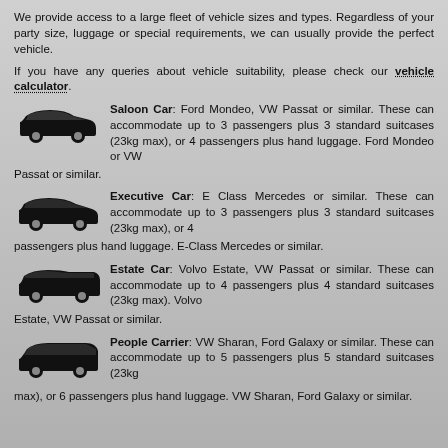We provide access to a large fleet of vehicle sizes and types. Regardless of your party size, luggage or special requirements, we can usually provide the perfect vehicle.
If you have any queries about vehicle suitability, please check our vehicle calculator.
Saloon Car: Ford Mondeo, VW Passat or similar. These can accommodate up to 3 passengers plus 3 standard suitcases (23kg max), or 4 passengers plus hand luggage. Ford Mondeo or VW Passat or similar.
Executive Car: E Class Mercedes or similar. These can accommodate up to 3 passengers plus 3 standard suitcases (23kg max), or 4 passengers plus hand luggage. E-Class Mercedes or similar.
Estate Car: Volvo Estate, VW Passat or similar. These can accommodate up to 4 passengers plus 4 standard suitcases (23kg max). Volvo Estate, VW Passat or similar.
People Carrier: VW Sharan, Ford Galaxy or similar. These can accommodate up to 5 passengers plus 5 standard suitcases (23kg max), or 6 passengers plus hand luggage. VW Sharan, Ford Galaxy or similar.